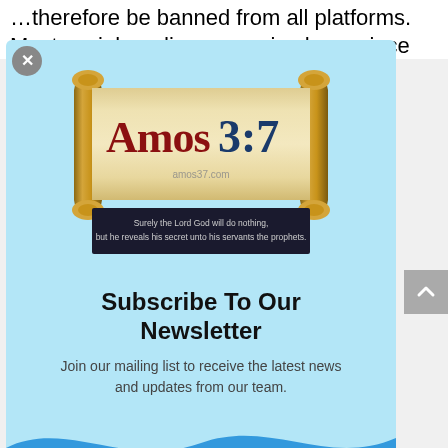…therefore be banned from all platforms. Most social media companies have since
[Figure (logo): Amos3:7 website logo showing a Torah scroll with the text 'Amos3:7' and amos37.com, with a dark banner reading 'Surely the Lord God will do nothing, but he reveals his secret unto his servants the prophets.']
Subscribe To Our Newsletter
Join our mailing list to receive the latest news and updates from our team.